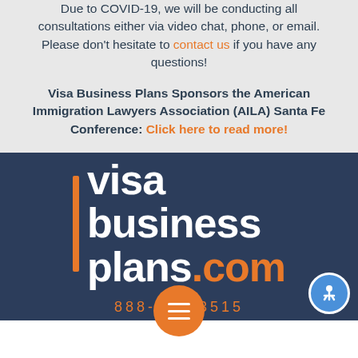Due to COVID-19, we will be conducting all consultations either via video chat, phone, or email. Please don't hesitate to contact us if you have any questions!
Visa Business Plans Sponsors the American Immigration Lawyers Association (AILA) Santa Fe Conference: Click here to read more!
[Figure (logo): Visa Business Plans logo on dark navy blue background with orange vertical bar and white text reading 'visa business plans.com', phone number 888-***-3515 in orange]